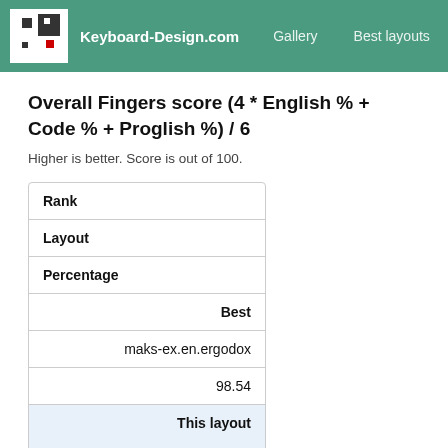Keyboard-Design.com  Gallery  Best layouts  Too
Overall Fingers score (4 * English % + Code % + Proglish %) / 6
Higher is better. Score is out of 100.
| Rank | Layout | Percentage |
| --- | --- | --- |
| Best | maks-ex.en.ergodox | 98.54 |
| This layout | ina-dv.en.ansi | 52.97 |